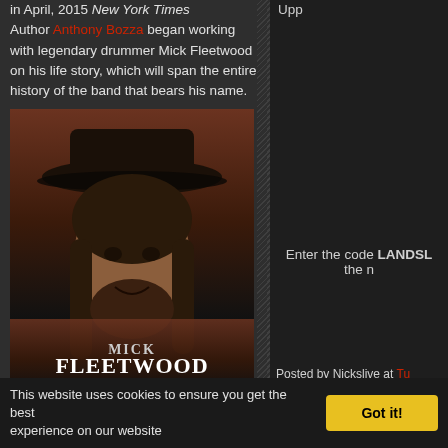in April, 2015 New York Times Author Anthony Bozza began working with legendary drummer Mick Fleetwood on his life story, which will span the entire history of the band that bears his name.
[Figure (photo): Book cover of 'Play On: Now, Then, and Fleetwood Mac' by Mick Fleetwood with Anthony Bozza. Shows a man with long dark hair and a wide-brimmed hat on the cover.]
Enter the code LANDSL the n
Upp
Posted by Nickslive at Tu
Labels: cheap tickets, Fle
This website uses cookies to ensure you get the best experience on our website